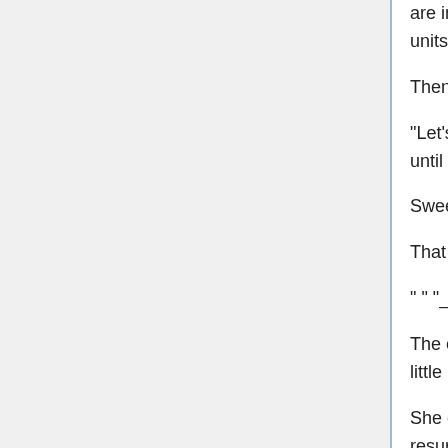are invading the labyrinth of Eihort, the enemy right now is splitting into two units. This dispersion of their battle strength is a chance for us."
Then,
“Let’s fight. In order to survive. In order to protect. Let’s stand against despair until the very end.
Sweep aside despair, in order to obtain the future.
That is, ……the duty of the living.”
“ “ “____________” ” ”
The eyes of Sumika who replied to their question weren’t clouded for even a little bit.
She didn’t merely lose her arm or leg. Although she was revived using resurrection magic, she was exposed to